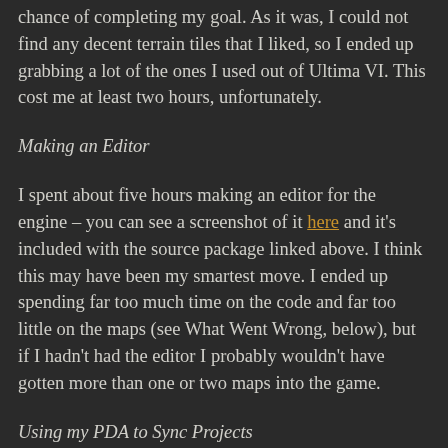chance of completing my goal. As it was, I could not find any decent terrain tiles that I liked, so I ended up grabbing a lot of the ones I used out of Ultima VI. This cost me at least two hours, unfortunately.
Making an Editor
I spent about five hours making an editor for the engine – you can see a screenshot of it here and it's included with the source package linked above. I think this may have been my smartest move. I ended up spending far too much time on the code and far too little on the maps (see What Went Wrong, below), but if I hadn't had the editor I probably wouldn't have gotten more than one or two maps into the game.
Using my PDA to Sync Projects
I have an Asus A620 PocketPC-based PDA. I